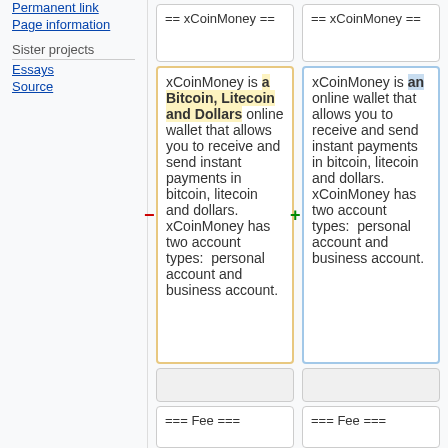Permanent link
Page information
Sister projects
Essays
Source
== xCoinMoney ==
== xCoinMoney ==
xCoinMoney is a Bitcoin, Litecoin and Dollars online wallet that allows you to receive and send instant payments in bitcoin, litecoin and dollars. xCoinMoney has two account types:  personal account and business account.
xCoinMoney is an online wallet that allows you to receive and send instant payments in bitcoin, litecoin and dollars. xCoinMoney has two account types:  personal account and business account.
=== Fee ===
=== Fee ===